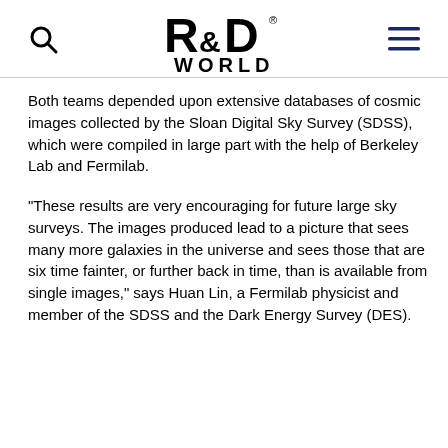R&D WORLD
Both teams depended upon extensive databases of cosmic images collected by the Sloan Digital Sky Survey (SDSS), which were compiled in large part with the help of Berkeley Lab and Fermilab.
“These results are very encouraging for future large sky surveys. The images produced lead to a picture that sees many more galaxies in the universe and sees those that are six time fainter, or further back in time, than is available from single images,” says Huan Lin, a Fermilab physicist and member of the SDSS and the Dark Energy Survey (DES).